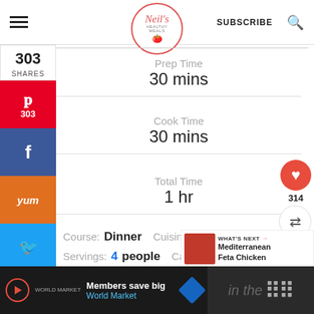Neil's Healthy Meals | SUBSCRIBE
303 SHARES
Prep Time
30 mins
Cook Time
30 mins
Total Time
1 hr
Course: Dinner  Cuisine: Mediterranean
Servings: 4 people  Calories: 434
Author: Neil
314
WHAT'S NEXT → Mediterranean Feta Chicken
Members save big
World Market